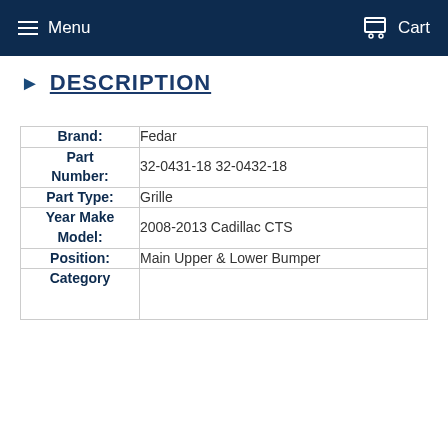Menu | Cart
DESCRIPTION
| Field | Value |
| --- | --- |
| Brand: | Fedar |
| Part Number: | 32-0431-18 32-0432-18 |
| Part Type: | Grille |
| Year Make Model: | 2008-2013 Cadillac CTS |
| Position: | Main Upper & Lower Bumper |
| Category |  |